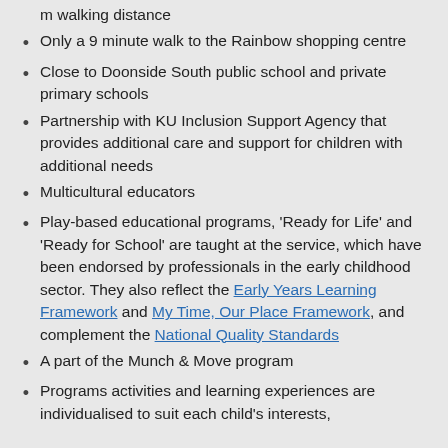m walking distance
Only a 9 minute walk to the Rainbow shopping centre
Close to Doonside South public school and private primary schools
Partnership with KU Inclusion Support Agency that provides additional care and support for children with additional needs
Multicultural educators
Play-based educational programs, 'Ready for Life' and 'Ready for School' are taught at the service, which have been endorsed by professionals in the early childhood sector. They also reflect the Early Years Learning Framework and My Time, Our Place Framework, and complement the National Quality Standards
A part of the Munch & Move program
Programs activities and learning experiences are individualised to suit each child's interests,